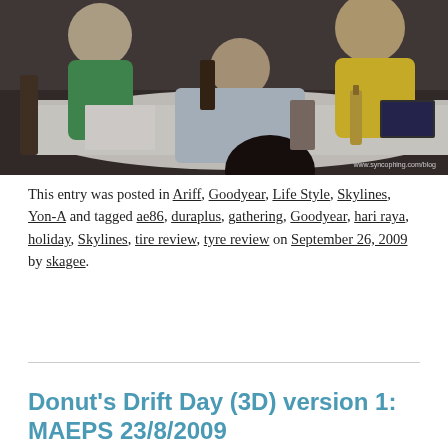[Figure (photo): Group of people sitting around a table in a dimly lit restaurant or gathering. One person in a green shirt on the left, one in a light blue shirt leaning over the table in center, one in a yellow shirt on the right. Watermark: www.syncophing.com/blog]
This entry was posted in Ariff, Goodyear, Life Style, Skylines, Yon-A and tagged ae86, duraplus, gathering, Goodyear, hari raya, holiday, Skylines, tire review, tyre review on September 26, 2009 by skagee.
Donut's Drift Day (3D) version 1: MAEPS 23/8/2009